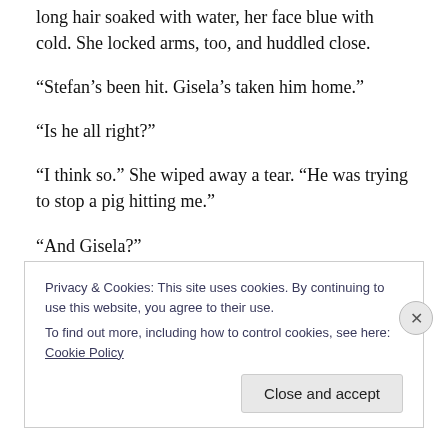long hair soaked with water, her face blue with cold. She locked arms, too, and huddled close.
“Stefan’s been hit. Gisela’s taken him home.”
“Is he all right?”
“I think so.” She wiped away a tear. “He was trying to stop a pig hitting me.”
“And Gisela?”
“Cut in the face – best for her to go with him.”
Privacy & Cookies: This site uses cookies. By continuing to use this website, you agree to their use.
To find out more, including how to control cookies, see here: Cookie Policy